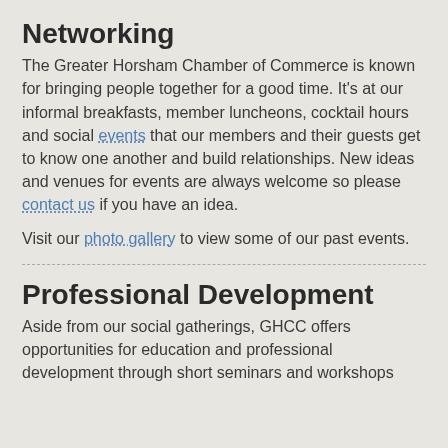Networking
The Greater Horsham Chamber of Commerce is known for bringing people together for a good time. It's at our informal breakfasts, member luncheons, cocktail hours and social events that our members and their guests get to know one another and build relationships. New ideas and venues for events are always welcome so please contact us if you have an idea.
Visit our photo gallery to view some of our past events.
Professional Development
Aside from our social gatherings, GHCC offers opportunities for education and professional development through short seminars and workshops